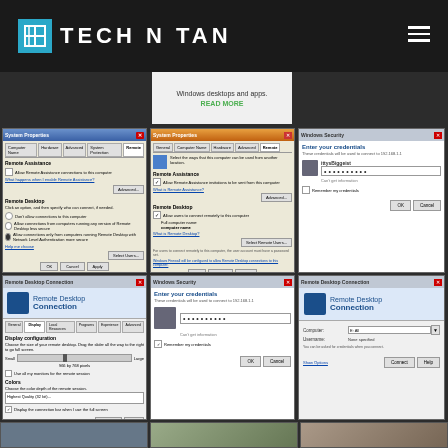[Figure (screenshot): Tech N Tan website header with logo and hamburger menu on dark background]
Windows desktops and apps.
READ MORE
[Figure (screenshot): System Properties dialog - Remote tab showing Remote Assistance and Remote Desktop settings]
[Figure (screenshot): System Properties dialog - Remote tab with Remote Assistance enabled and Remote Desktop options]
[Figure (screenshot): Windows Security credential dialog with username and password fields]
[Figure (screenshot): Remote Desktop Connection window with Display and Colors tab settings]
[Figure (screenshot): Windows Security credential dialog with password field filled]
[Figure (screenshot): Remote Desktop Connection dialog with computer and username fields and Connect button]